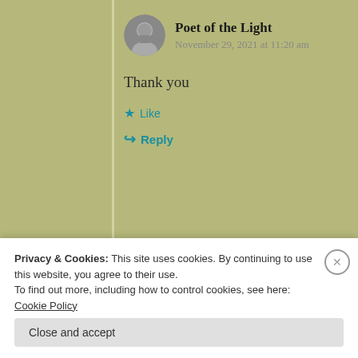Poet of the Light
November 29, 2021 at 11:20 am
Thank you
Like
Reply
[Figure (screenshot): Partial view of a webpage card with text 'Let's get started' and a photo of hands on a laptop]
Privacy & Cookies: This site uses cookies. By continuing to use this website, you agree to their use.
To find out more, including how to control cookies, see here: Cookie Policy
Close and accept